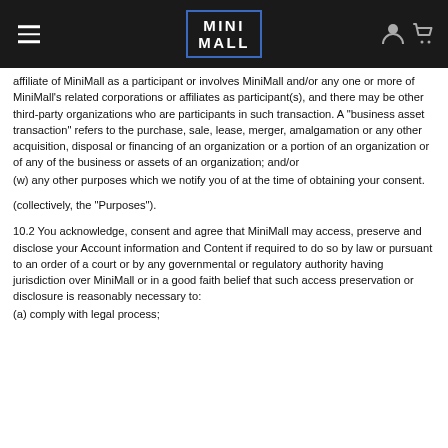MINI MALL
affiliate of MiniMall as a participant or involves MiniMall and/or any one or more of MiniMall's related corporations or affiliates as participant(s), and there may be other third-party organizations who are participants in such transaction. A "business asset transaction" refers to the purchase, sale, lease, merger, amalgamation or any other acquisition, disposal or financing of an organization or a portion of an organization or of any of the business or assets of an organization; and/or
(w) any other purposes which we notify you of at the time of obtaining your consent.
(collectively, the "Purposes").
10.2 You acknowledge, consent and agree that MiniMall may access, preserve and disclose your Account information and Content if required to do so by law or pursuant to an order of a court or by any governmental or regulatory authority having jurisdiction over MiniMall or in a good faith belief that such access preservation or disclosure is reasonably necessary to:
(a) comply with legal process;